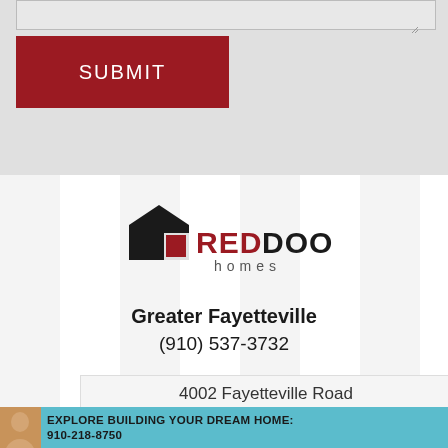[Figure (screenshot): Gray form area with a textarea stub at top and a dark red SUBMIT button below]
[Figure (logo): Red Door Homes logo with black house/door icon, red square door icon, RED in red text, DOOR in black text, 'homes' in gray below]
Greater Fayetteville
(910) 537-3732
4002 Fayetteville Road
EXPLORE BUILDING YOUR DREAM HOME: 910-218-8750